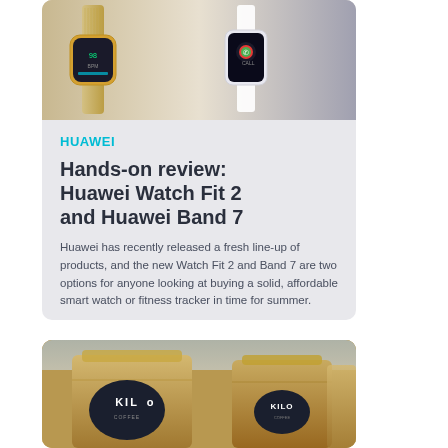[Figure (photo): Product photo of Huawei Watch Fit 2 (gold) and another Huawei smartwatch (white) at top of card]
HUAWEI
Hands-on review: Huawei Watch Fit 2 and Huawei Band 7
Huawei has recently released a fresh line-up of products, and the new Watch Fit 2 and Band 7 are two options for anyone looking at buying a solid, affordable smart watch or fitness tracker in time for summer.
[Figure (photo): Photo of brown kraft paper bags with black circular KILO logo stickers]